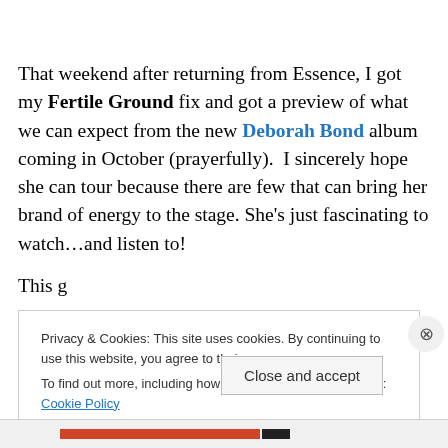That weekend after returning from Essence, I got my Fertile Ground fix and got a preview of what we can expect from the new Deborah Bond album coming in October (prayerfully).  I sincerely hope she can tour because there are few that can bring her brand of energy to the stage. She's just fascinating to watch…and listen to!
Privacy & Cookies: This site uses cookies. By continuing to use this website, you agree to their use.
To find out more, including how to control cookies, see here: Cookie Policy